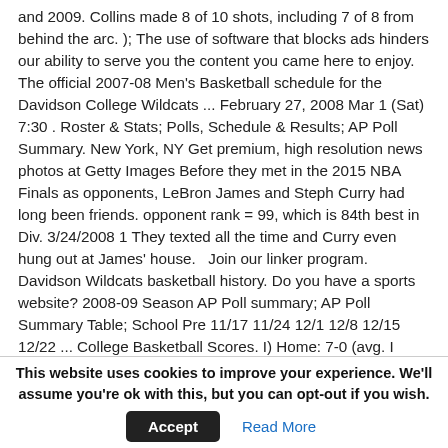and 2009. Collins made 8 of 10 shots, including 7 of 8 from behind the arc. ); The use of software that blocks ads hinders our ability to serve you the content you came here to enjoy. The official 2007-08 Men's Basketball schedule for the Davidson College Wildcats ... February 27, 2008 Mar 1 (Sat) 7:30 . Roster & Stats; Polls, Schedule & Results; AP Poll Summary. New York, NY Get premium, high resolution news photos at Getty Images Before they met in the 2015 NBA Finals as opponents, LeBron James and Steph Curry had long been friends. opponent rank = 99, which is 84th best in Div. 3/24/2008 1 They texted all the time and Curry even hung out at James' house.   Join our linker program. Davidson Wildcats basketball history. Do you have a sports website? 2008-09 Season AP Poll summary; AP Poll Summary Table; School Pre 11/17 11/24 12/1 12/8 12/15 12/22 ... College Basketball Scores. I) Home: 7-0 (avg. I wrote a book about Davidson basketball and didn't put Stephen Curry on the cover. UNLV 77, Duke 79, Kentucky 103, Duke 104, UNC 54, Kansas 53, NC State 54, Houston 52. Our reasoning for presenting offensive logos. Or write about sports? 2020 season schedule, scores, stats,
This website uses cookies to improve your experience. We'll assume you're ok with this, but you can opt-out if you wish.  Accept  Read More